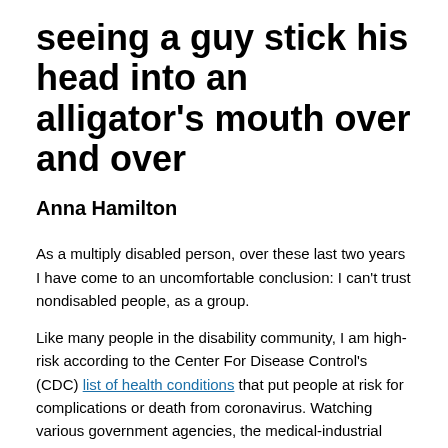seeing a guy stick his head into an alligator's mouth over and over
Anna Hamilton
As a multiply disabled person, over these last two years I have come to an uncomfortable conclusion: I can't trust nondisabled people, as a group.
Like many people in the disability community, I am high-risk according to the Center For Disease Control's (CDC) list of health conditions that put people at risk for complications or death from coronavirus. Watching various government agencies, the medical-industrial complex, and organizations such as the CDC variously fumble and botch their responses to the pandemic—and seeing some of the nondisabled general public